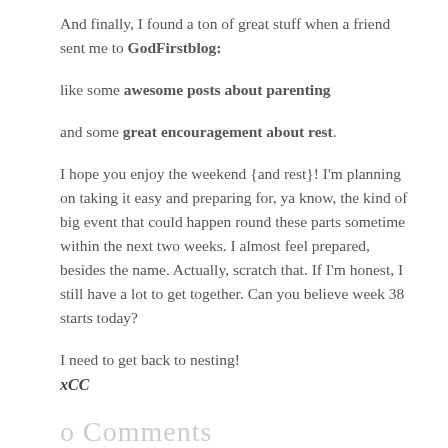And finally, I found a ton of great stuff when a friend sent me to GodFirstblog:
like some awesome posts about parenting
and some great encouragement about rest.
I hope you enjoy the weekend {and rest}! I'm planning on taking it easy and preparing for, ya know, the kind of big event that could happen round these parts sometime within the next two weeks. I almost feel prepared, besides the name. Actually, scratch that. If I'm honest, I still have a lot to get together. Can you believe week 38 starts today?
I need to get back to nesting!
xCC
o Comments